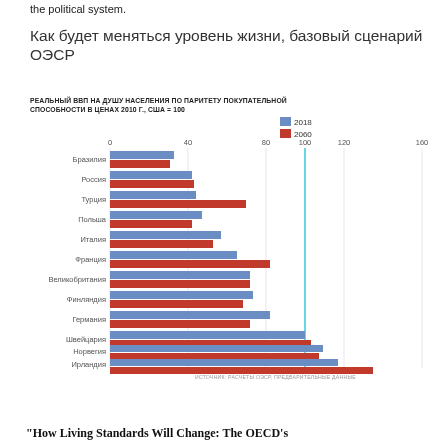the political system.
Как будет меняться уровень жизни, базовый сценарий ОЭСР
РЕАЛЬНЫЙ ВВП НА ДУШУ НАСЕЛЕНИЯ ПО ПАРИТЕТУ ПОКУПАТЕЛЬНОЙ СПОСОБНОСТИ В ЦЕНАХ 2010 Г., США = 100
[Figure (bar-chart): Как будет меняться уровень жизни, базовый сценарий ОЭСР]
ИСТОЧНИК: РАСЧЕТЫ ОЭСР, ПРЕДВАРИТЕЛЬНЫЕ ДАННЫЕ
"How Living Standards Will Change: The OECD's